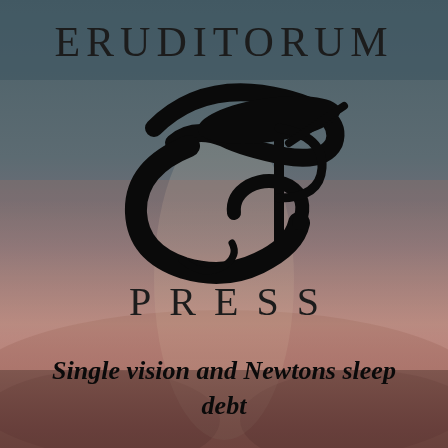ERUDITORUM
[Figure (logo): Eruditorum Press logo: stylized calligraphic EP monogram in black with sweeping curved strokes]
PRESS
Single vision and Newtons sleep debt